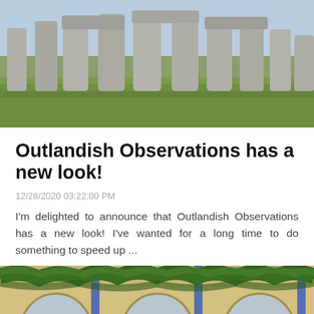[Figure (photo): Stonehenge-like standing stones on green grass, viewed from ground level]
Outlandish Observations has a new look!
12/28/2020 03:22:00 PM
I'm delighted to announce that Outlandish Observations has a new look! I've wanted for a long time to do something to speed up ...
[Figure (photo): Building exterior decorated with pine garlands and blue ribbons over arched windows]